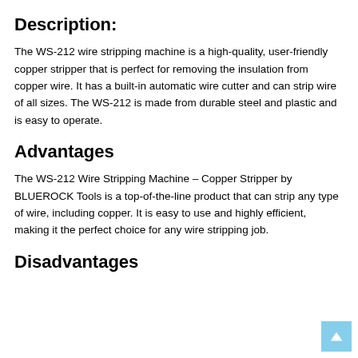Description:
The WS-212 wire stripping machine is a high-quality, user-friendly copper stripper that is perfect for removing the insulation from copper wire. It has a built-in automatic wire cutter and can strip wire of all sizes. The WS-212 is made from durable steel and plastic and is easy to operate.
Advantages
The WS-212 Wire Stripping Machine – Copper Stripper by BLUEROCK Tools is a top-of-the-line product that can strip any type of wire, including copper. It is easy to use and highly efficient, making it the perfect choice for any wire stripping job.
Disadvantages